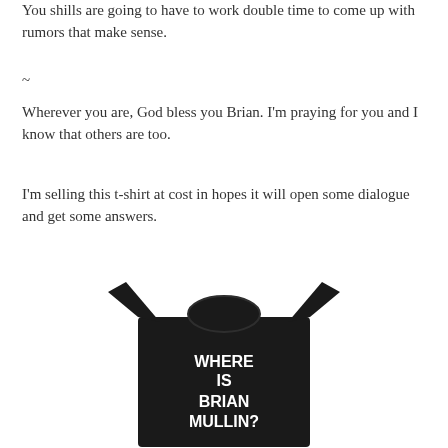You shills are going to have to work double time to come up with rumors that make sense.
~
Wherever you are, God bless you Brian. I'm praying for you and I know that others are too.
I'm selling this t-shirt at cost in hopes it will open some dialogue and get some answers.
[Figure (photo): A black t-shirt with white bold text reading 'WHERE IS BRIAN MULLIN?' on the front.]